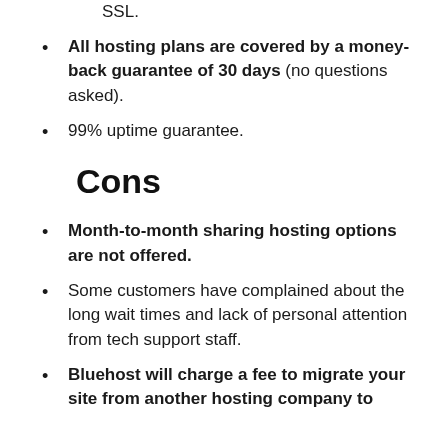SSL.
All hosting plans are covered by a money-back guarantee of 30 days (no questions asked).
99% uptime guarantee.
Cons
Month-to-month sharing hosting options are not offered.
Some customers have complained about the long wait times and lack of personal attention from tech support staff.
Bluehost will charge a fee to migrate your site from another hosting company to